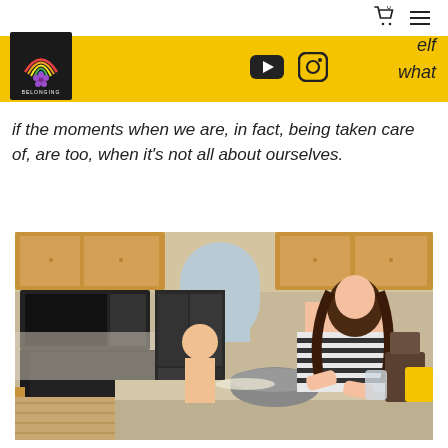Navigation bar with cart icon and hamburger menu
[Figure (logo): Belonging brand logo - black square with rainbow and purple flower graphic, text BELONGING below]
elf
what
YouTube and Instagram social icons on yellow band
if the moments when we are, in fact, being taken care of, are too, when it's not all about ourselves.
[Figure (photo): A woman with curly dark hair in a striped black and white shirt kneading dough in a large bowl at a kitchen island. A toddler stands beside her at the counter. The kitchen has wooden cabinets, a black refrigerator, microwave, and stove in the background. Kitchen counter has flour and cooking supplies scattered around.]